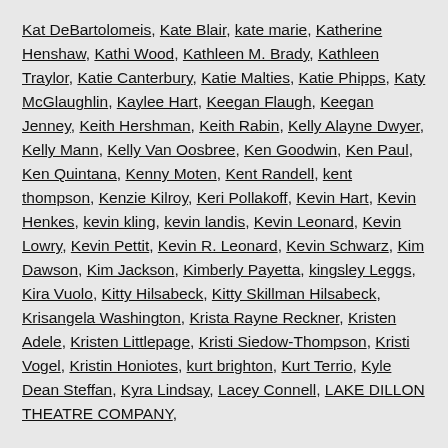Kat DeBartolomeis, Kate Blair, kate marie, Katherine Henshaw, Kathi Wood, Kathleen M. Brady, Kathleen Traylor, Katie Canterbury, Katie Malties, Katie Phipps, Katy McGlaughlin, Kaylee Hart, Keegan Flaugh, Keegan Jenney, Keith Hershman, Keith Rabin, Kelly Alayne Dwyer, Kelly Mann, Kelly Van Oosbree, Ken Goodwin, Ken Paul, Ken Quintana, Kenny Moten, Kent Randell, kent thompson, Kenzie Kilroy, Keri Pollakoff, Kevin Hart, Kevin Henkes, kevin kling, kevin landis, Kevin Leonard, Kevin Lowry, Kevin Pettit, Kevin R. Leonard, Kevin Schwarz, Kim Dawson, Kim Jackson, Kimberly Payetta, kingsley Leggs, Kira Vuolo, Kitty Hilsabeck, Kitty Skillman Hilsabeck, Krisangela Washington, Krista Rayne Reckner, Kristen Adele, Kristen Littlepage, Kristi Siedow-Thompson, Kristi Vogel, Kristin Honiotes, kurt brighton, Kurt Terrio, Kyle Dean Steffan, Kyra Lindsay, Lacey Connell, LAKE DILLON THEATRE COMPANY, ...